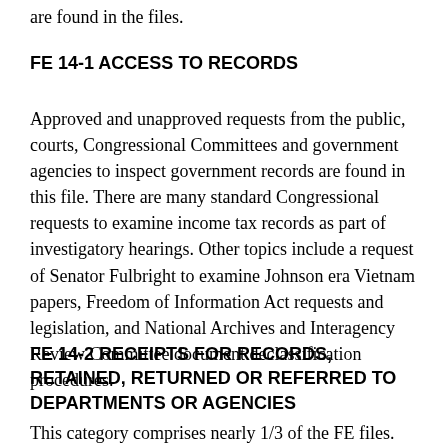are found in the files.
FE 14-1 ACCESS TO RECORDS
Approved and unapproved requests from the public, courts, Congressional Committees and government agencies to inspect government records are found in this file. There are many standard Congressional requests to examine income tax records as part of investigatory hearings. Other topics include a request of Senator Fulbright to examine Johnson era Vietnam papers, Freedom of Information Act requests and legislation, and National Archives and Interagency Review Committee document declassification procedures.
FE 14-2 RECEIPTS FOR RECORDS, RETAINED, RETURNED OR REFERRED TO DEPARTMENTS OR AGENCIES
This category comprises nearly 1/3 of the FE files. The